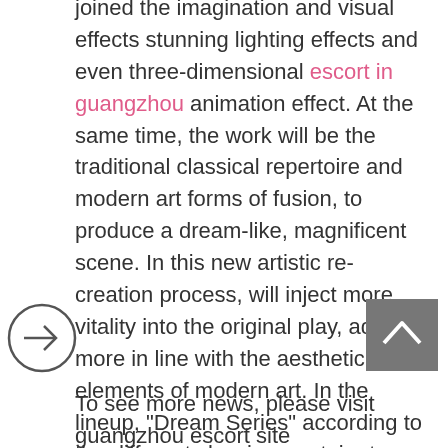joined the imagination and visual effects stunning lighting effects and even three-dimensional escort in guangzhou animation effect. At the same time, the work will be the traditional classical repertoire and modern art forms of fusion, to produce a dream-like, magnificent scene. In this new artistic re-creation process, will inject more vitality into the original play, adding more in line with the aesthetic elements of modern art. In the lineup, “Dream Series” according to the different classic repertoire to invite a very representative team to join the show, breaking the musical, stage play “the same team tour around” the traditional model.
To see more news, please visit guangzhou escort site http://www.guangzhouescort.org